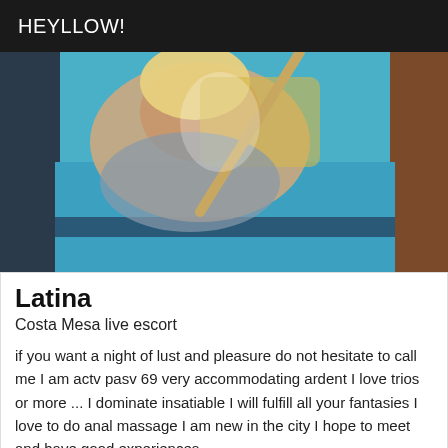HEYLLOW!
[Figure (photo): Photo of a blonde woman wearing a grey top near a blue surface, holding what appears to be a stick or rod]
Latina
Costa Mesa live escort
if you want a night of lust and pleasure do not hesitate to call me I am actv pasv 69 very accommodating ardent I love trios or more ... I dominate insatiable I will fulfill all your fantasies I love to do anal massage I am new in the city I hope to meet and have good experiences
[Figure (photo): Partial photo of a dark-haired person against a reddish-brown background, visible at bottom of page]